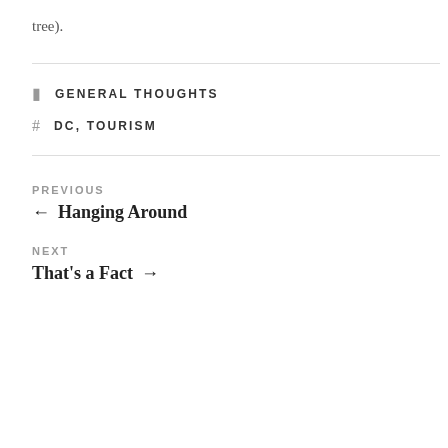tree).
GENERAL THOUGHTS
DC, TOURISM
PREVIOUS
← Hanging Around
NEXT
That's a Fact →